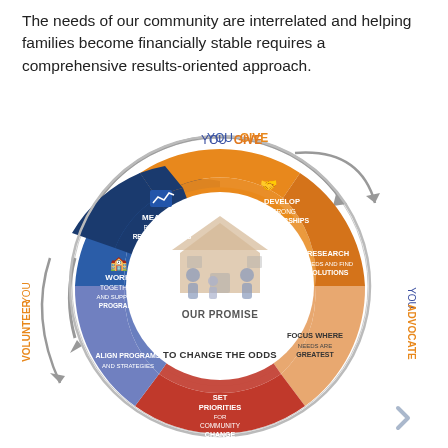The needs of our community are interrelated and helping families become financially stable requires a comprehensive results-oriented approach.
[Figure (infographic): Circular infographic showing a community promise model. Center shows 'OUR PROMISE TO CHANGE THE ODDS' with a family icon inside a house. Surrounding segments include: DEVELOP STRONG PARTNERSHIPS (orange, top right), RESEARCH NEEDS AND FIND SOLUTIONS (orange, right), FOCUS WHERE NEEDS ARE GREATEST (light orange, bottom right), SET PRIORITIES FOR COMMUNITY CHANGE (red, bottom), ALIGN PROGRAMS AND STRATEGIES (blue-purple, bottom left), WORK TOGETHER AND SUPPORT PROGRAMS (blue, left), MEASURE PROGRESS REPORT RESULTS (navy, top left). Outer ring shows YOU GIVE (top), YOU ADVOCATE (right), YOU VOLUNTEER (left) with arrows indicating a cycle.]